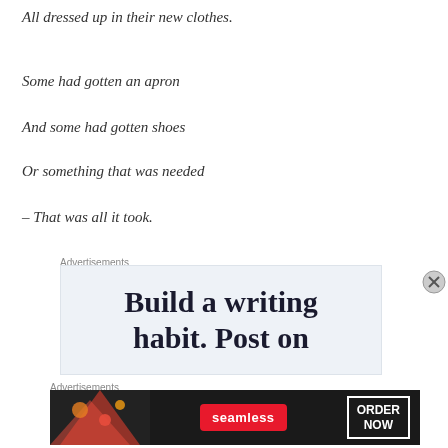All dressed up in their new clothes.
Some had gotten an apron
And some had gotten shoes
Or something that was needed
– That was all it took.
Advertisements
[Figure (other): Advertisement banner: Build a writing habit. Post on]
Advertisements
[Figure (other): Seamless food delivery advertisement with pizza image, red Seamless logo, and ORDER NOW button]